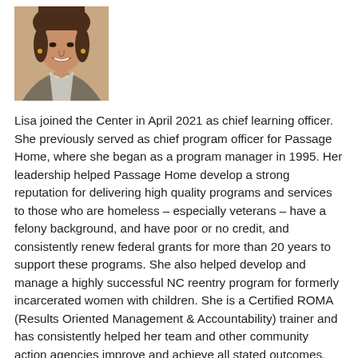[Figure (photo): Headshot photo of Lisa, a woman smiling, wearing a gray patterned top, shown from shoulders up against a neutral background.]
Lisa joined the Center in April 2021 as chief learning officer. She previously served as chief program officer for Passage Home, where she began as a program manager in 1995. Her leadership helped Passage Home develop a strong reputation for delivering high quality programs and services to those who are homeless – especially veterans – have a felony background, and have poor or no credit, and consistently renew federal grants for more than 20 years to support these programs. She also helped develop and manage a highly successful NC reentry program for formerly incarcerated women with children. She is a Certified ROMA (Results Oriented Management & Accountability) trainer and has consistently helped her team and other community action agencies improve and achieve all stated outcomes. Outside of work, Lisa enjoys fitness routines and spending time at the beach.